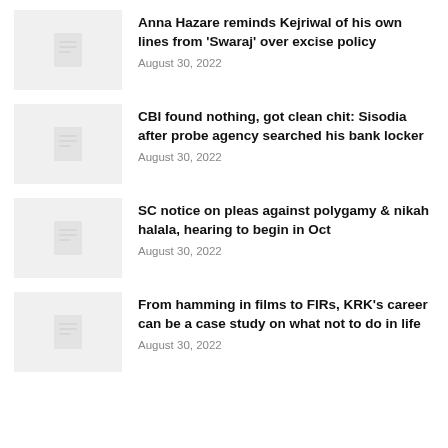Anna Hazare reminds Kejriwal of his own lines from ‘Swaraj’ over excise policy
August 30, 2022
CBI found nothing, got clean chit: Sisodia after probe agency searched his bank locker
August 30, 2022
SC notice on pleas against polygamy & nikah halala, hearing to begin in Oct
August 30, 2022
From hamming in films to FIRs, KRK’s career can be a case study on what not to do in life
August 30, 2022